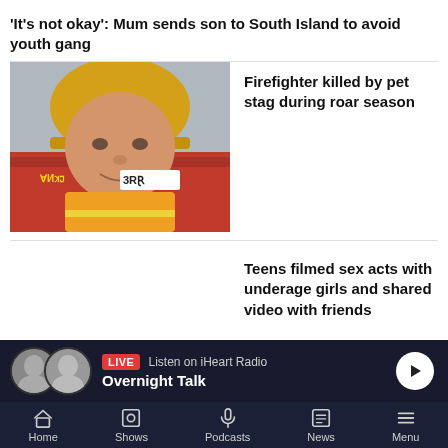'It's not okay': Mum sends son to South Island to avoid youth gang
[Figure (photo): Close-up portrait of a firefighter in yellow helmet, with a red fire truck in the background showing reversed 'FIRE' and 'SCANIA' text]
Firefighter killed by pet stag during roar season
Teens filmed sex acts with underage girls and shared video with friends
LIVE  Listen on iHeart Radio  Overnight Talk
Home  Shows  Podcasts  News  Menu